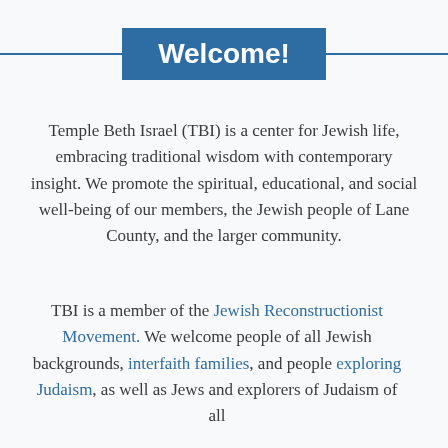Welcome!
Temple Beth Israel (TBI) is a center for Jewish life, embracing traditional wisdom with contemporary insight. We promote the spiritual, educational, and social well-being of our members, the Jewish people of Lane County, and the larger community.
TBI is a member of the Jewish Reconstructionist Movement. We welcome people of all Jewish backgrounds, interfaith families, and people exploring Judaism, as well as Jews and explorers of Judaism of all